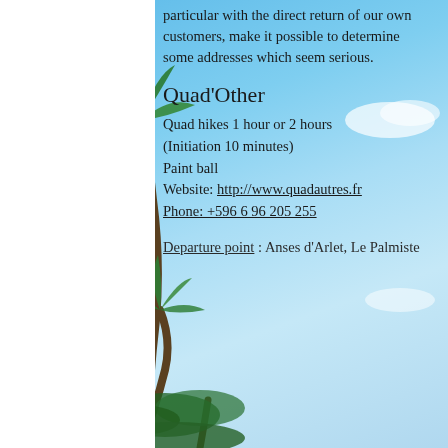particular with the direct return of our own customers, make it possible to determine some addresses which seem serious.
Quad'Other
Quad hikes 1 hour or 2 hours (Initiation 10 minutes)
Paint ball
Website: http://www.quadautres.fr
Phone: +596 6 96 205 255
Departure point : Anses d'Arlet, Le Palmiste